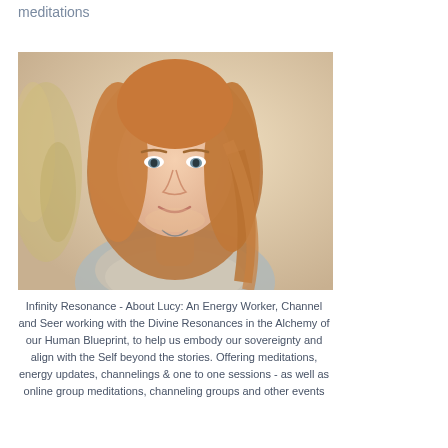meditations
[Figure (photo): Portrait photo of a young woman with long auburn/red hair, wearing a grey scarf, smiling softly against a warm beige background.]
Infinity Resonance - About Lucy: An Energy Worker, Channel and Seer working with the Divine Resonances in the Alchemy of our Human Blueprint, to help us embody our sovereignty and align with the Self beyond the stories. Offering meditations, energy updates, channelings & one to one sessions - as well as online group meditations, channeling groups and other events